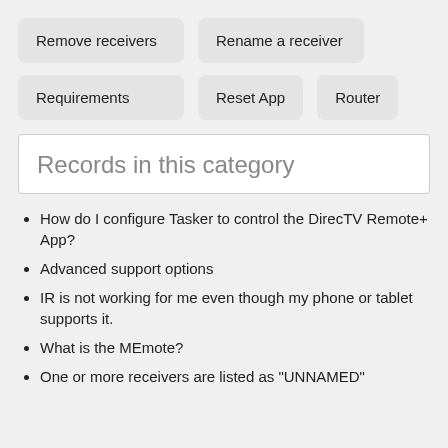Remove receivers
Rename a receiver
Requirements
Reset App
Router
Records in this category
How do I configure Tasker to control the DirecTV Remote+ App?
Advanced support options
IR is not working for me even though my phone or tablet supports it.
What is the MEmote?
One or more receivers are listed as "UNNAMED"